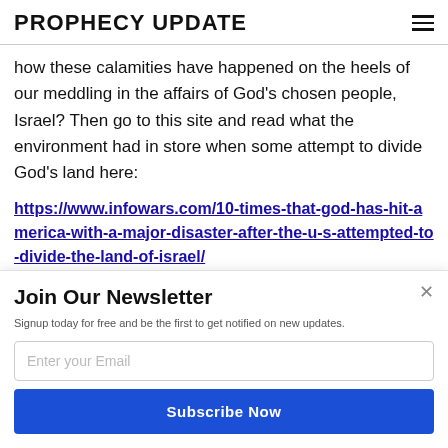PROPHECY UPDATE
how these calamities have happened on the heels of our meddling in the affairs of God's chosen people, Israel? Then go to this site and read what the environment had in store when some attempt to divide God’s land here:
https://www.infowars.com/10-times-that-god-has-hit-america-with-a-major-disaster-after-the-u-s-attempted-to-divide-the-land-of-israel/
[Figure (screenshot): Powered by SuMo branding bar overlay in the center of the page]
Join Our Newsletter
Signup today for free and be the first to get notified on new updates.
Enter your Email
Subscribe Now